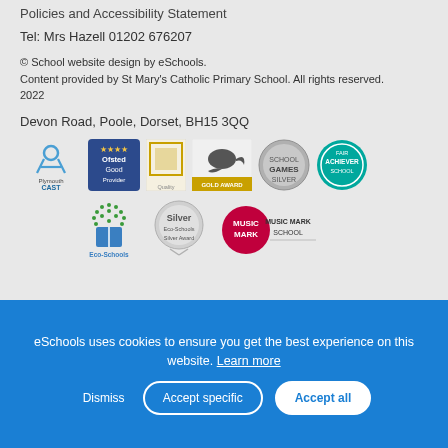Policies and Accessibility Statement
Tel: Mrs Hazell 01202 676207
© School website design by eSchools. Content provided by St Mary's Catholic Primary School. All rights reserved. 2022
Devon Road, Poole, Dorset, BH15 3QQ
[Figure (logo): Row of school award badges: Plymouth CAST, Ofsted Good Provider, a quality mark, Primary Science Quality Mark Gold Award, School Games Silver, Fair Achiever School]
[Figure (logo): Row of award badges: Eco-Schools, Eco-Schools Silver Award, Music Mark School]
eSchools uses cookies to ensure you get the best experience on this website. Learn more
Dismiss | Accept specific | Accept all